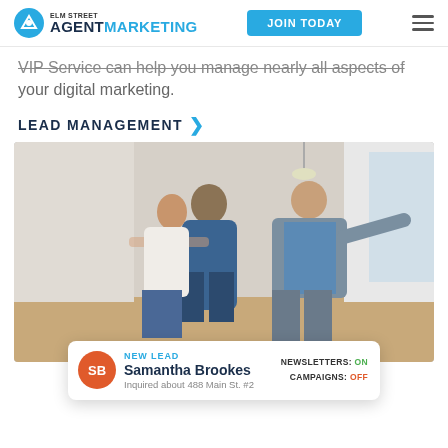ELM STREET AGENTMARKETING | JOIN TODAY
VIP Service can help you manage nearly all aspects of your digital marketing.
LEAD MANAGEMENT
[Figure (photo): A real estate agent showing a couple around a bright, empty room. The agent, a woman in a grey suit and blue blouse with glasses, gestures broadly to the right. The couple, a man in a blue sweater and a woman with red hair in a white top, stand embracing and smiling.]
NEW LEAD
Samantha Brookes
Inquired about 488 Main St. #2
NEWSLETTERS: ON
CAMPAIGNS: OFF